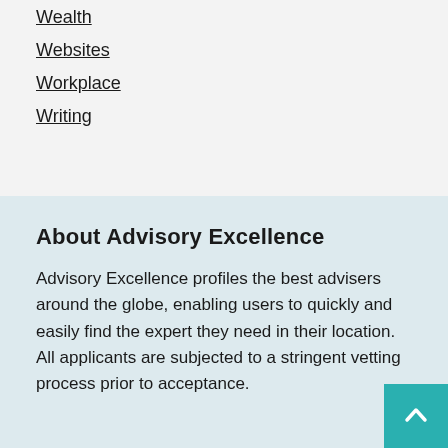Wealth
Websites
Workplace
Writing
About Advisory Excellence
Advisory Excellence profiles the best advisers around the globe, enabling users to quickly and easily find the expert they need in their location. All applicants are subjected to a stringent vetting process prior to acceptance.